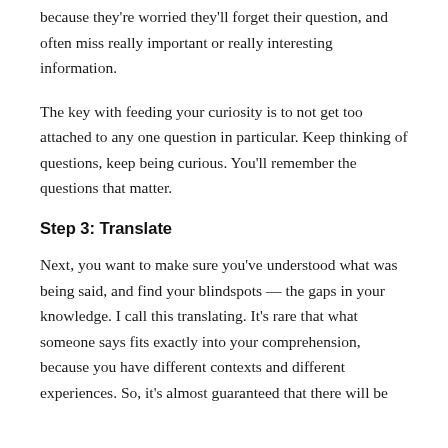because they're worried they'll forget their question, and often miss really important or really interesting information.
The key with feeding your curiosity is to not get too attached to any one question in particular. Keep thinking of questions, keep being curious. You'll remember the questions that matter.
Step 3: Translate
Next, you want to make sure you've understood what was being said, and find your blindspots — the gaps in your knowledge. I call this translating. It's rare that what someone says fits exactly into your comprehension, because you have different contexts and different experiences. So, it's almost guaranteed that there will be